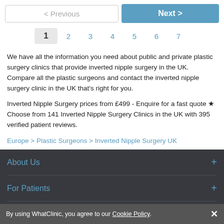< Previous   Next >
1  2  3  4  5  6  7
We have all the information you need about public and private plastic surgery clinics that provide inverted nipple surgery in the UK. Compare all the plastic surgeons and contact the inverted nipple surgery clinic in the UK that's right for you.
Inverted Nipple Surgery prices from £499 - Enquire for a fast quote ★ Choose from 141 Inverted Nipple Surgery Clinics in the UK with 395 verified patient reviews.
Europe > Plastic Surgeons > Inverted Nipple Surgery UK
About Us +
For Patients +
For Clinics +
By using WhatClinic, you agree to our Cookie Policy. ×